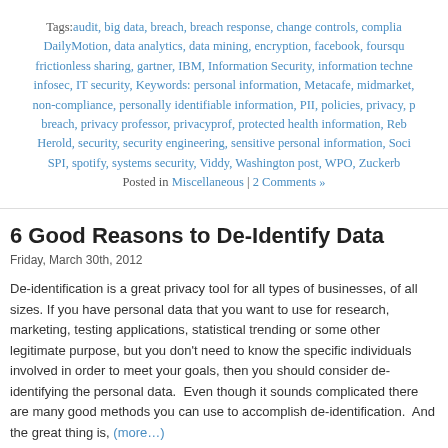Tags: audit, big data, breach, breach response, change controls, compliance, DailyMotion, data analytics, data mining, encryption, facebook, foursquare, frictionless sharing, gartner, IBM, Information Security, information technology, infosec, IT security, Keywords: personal information, Metacafe, midmarket, non-compliance, personally identifiable information, PII, policies, privacy, privacy breach, privacy professor, privacyprof, protected health information, Rebecca Herold, security, security engineering, sensitive personal information, Social, SPI, spotify, systems security, Viddy, Washington post, WPO, Zuckerberg
Posted in Miscellaneous | 2 Comments »
6 Good Reasons to De-Identify Data
Friday, March 30th, 2012
De-identification is a great privacy tool for all types of businesses, of all sizes. If you have personal data that you want to use for research, marketing, testing applications, statistical trending or some other legitimate purpose, but you don't need to know the specific individuals involved in order to meet your goals, then you should consider de-identifying the personal data.  Even though it sounds complicated there are many good methods you can use to accomplish de-identification.  And the great thing is, (more…)